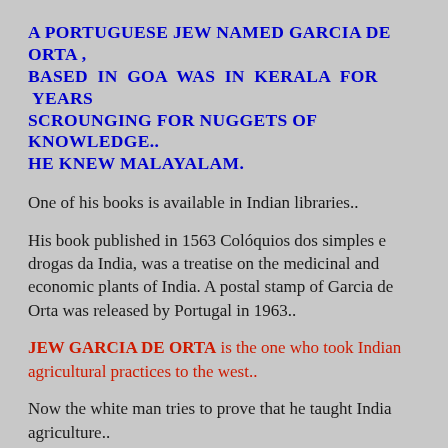A PORTUGUESE JEW NAMED GARCIA DE ORTA , BASED IN GOA WAS IN KERALA FOR YEARS SCROUNGING FOR NUGGETS OF KNOWLEDGE.. HE KNEW MALAYALAM.
One of his books is available in Indian libraries..
His book published in 1563 Colóquios dos simples e drogas da India, was a treatise on the medicinal and economic plants of India. A postal stamp of Garcia de Orta was released by Portugal in 1963..
JEW GARCIA DE ORTA is the one who took Indian agricultural practices to the west..
Now the white man tries to prove that he taught India agriculture..
capt ajit vadakayil